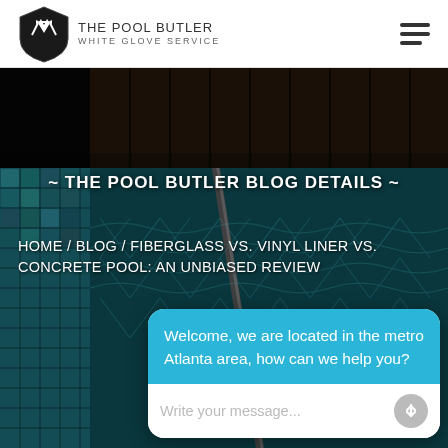[Figure (logo): The Pool Butler White Glove Service logo with tuxedo shield icon and text]
[Figure (photo): Dark background pool photograph with teal pool tiles and a pool cleaning pole]
~ THE POOL BUTLER BLOG DETAILS ~
HOME / BLOG / FIBERGLASS VS. VINYL LINER VS. CONCRETE POOL: AN UNBIASED REVIEW
Welcome, we are located in the metro Atlanta area, how can we help you?
Write your message...